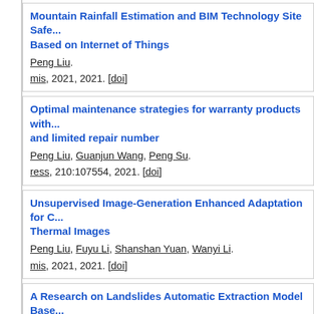Mountain Rainfall Estimation and BIM Technology Site Safe... Based on Internet of Things
Peng Liu.
mis, 2021, 2021. [doi]
Optimal maintenance strategies for warranty products with and limited repair number
Peng Liu, Guanjun Wang, Peng Su.
ress, 210:107554, 2021. [doi]
Unsupervised Image-Generation Enhanced Adaptation for C... Thermal Images
Peng Liu, Fuyu Li, Shanshan Yuan, Wanyi Li.
mis, 2021, 2021. [doi]
A Research on Landslides Automatic Extraction Model Base... Mask R-CNN
Peng Liu, Yongming Wei, Qinjun Wang, Jingjing Xie, Yu Chen, Z... Zhou.